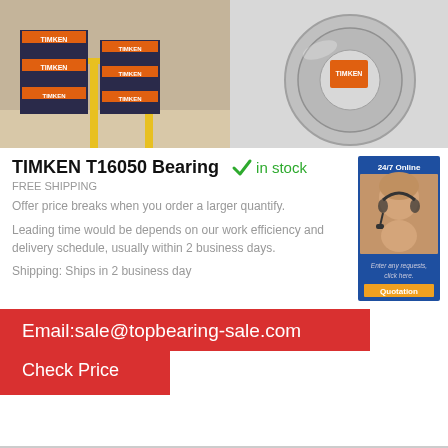[Figure (photo): Warehouse shelves stacked with orange and black TIMKEN branded bearing boxes]
[Figure (photo): Close-up of a TIMKEN tapered roller bearing with orange box]
TIMKEN T16050 Bearing
in stock
FREE SHIPPING
Offer price breaks when you order a larger quantify.
Leading time would be depends on our work efficiency and delivery schedule, usually within 2 business days.
Shipping: Ships in 2 business day
[Figure (photo): 24/7 Online customer service banner with woman wearing headset, Enter any requests click here, Quotation button]
Email:sale@topbearing-sale.com
Check Price